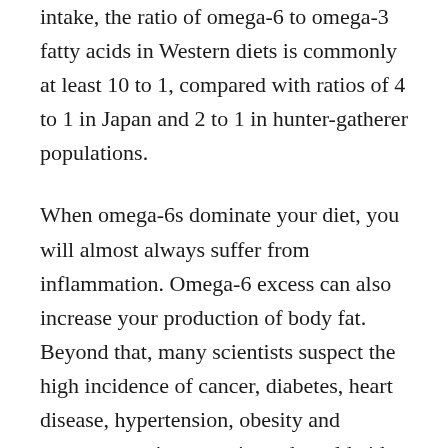intake, the ratio of omega-6 to omega-3 fatty acids in Western diets is commonly at least 10 to 1, compared with ratios of 4 to 1 in Japan and 2 to 1 in hunter-gatherer populations.
When omega-6s dominate your diet, you will almost always suffer from inflammation. Omega-6 excess can also increase your production of body fat. Beyond that, many scientists suspect the high incidence of cancer, diabetes, heart disease, hypertension, obesity and premature aging experienced worldwide may have its roots in the chronic